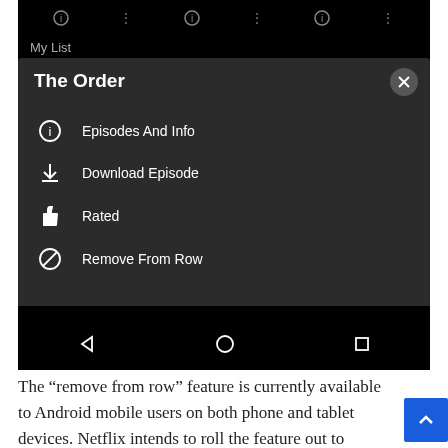[Figure (screenshot): Netflix Android app screenshot showing a context menu for 'The Order' with options: Episodes And Info, Download Episode, Rated, Remove From Row. Dark themed UI with Android navigation bar at bottom.]
The “remove from row” feature is currently available to Android mobile users on both phone and tablet devices. Netflix intends to roll the feature out to people using iOS devices on